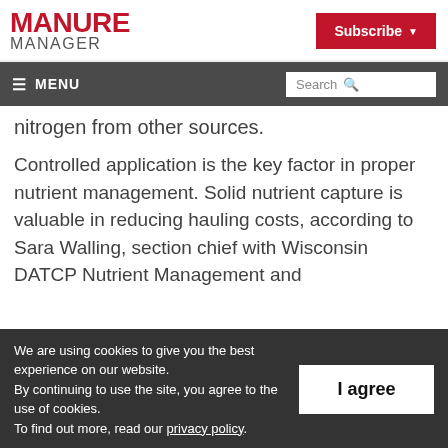MANURE MANAGER
Subscribe ▾
☰ MENU | Search
nitrogen from other sources.
Controlled application is the key factor in proper nutrient management. Solid nutrient capture is valuable in reducing hauling costs, according to Sara Walling, section chief with Wisconsin DATCP Nutrient Management and
We are using cookies to give you the best experience on our website. By continuing to use the site, you agree to the use of cookies. To find out more, read our privacy policy.